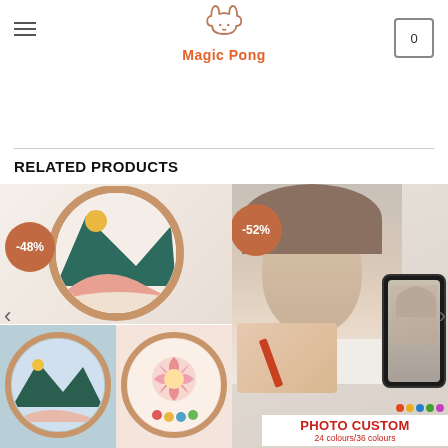Magic Pong
Products include:
1 printed embroidery cloth, 1 ient thread board, 1 special embroidery needle, 1 high-definition drawing
RELATED PRODUCTS
[Figure (photo): Embroidery hoop with abstract mountain landscape design in teal, pink, beige and yellow, with -48% discount badge]
[Figure (photo): Custom photo painting by numbers product showing woman's portrait with artist painting, phone mockup, and PHOTO CUSTOM text, -52% discount badge]